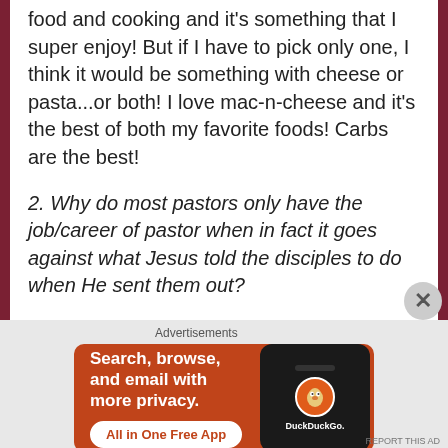food and cooking and it's something that I super enjoy! But if I have to pick only one, I think it would be something with cheese or pasta...or both! I love mac-n-cheese and it's the best of both my favorite foods! Carbs are the best!
2. Why do most pastors only have the job/career of pastor when in fact it goes against what Jesus told the disciples to do when He sent them out?
I have no clue about this or how to answer it so I did what do and googled it! Sorry that's the
Advertisements
[Figure (screenshot): DuckDuckGo advertisement banner with orange background showing 'Search, browse, and email with more privacy. All in One Free App' with a phone mockup displaying the DuckDuckGo logo]